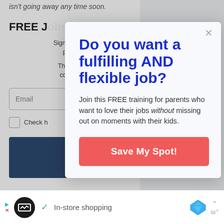isn't going away any time soon.
FREE J...
Sign up to m... prote...
The libra... cover b...
Email
Check h...
Do you want a fulfilling AND flexible job?
Join this FREE training for parents who want to love their jobs without missing out on moments with their kids.
Save My Spot!
In-store shopping